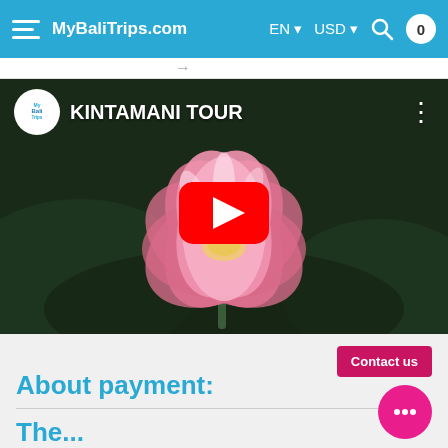MyBaliTrips.com  EN  USD
[Figure (screenshot): YouTube video thumbnail for KINTAMANI TOUR showing a pink lotus flower on dark green background, with YouTube play button overlay and MyBaliTrips logo]
About payment:
The...